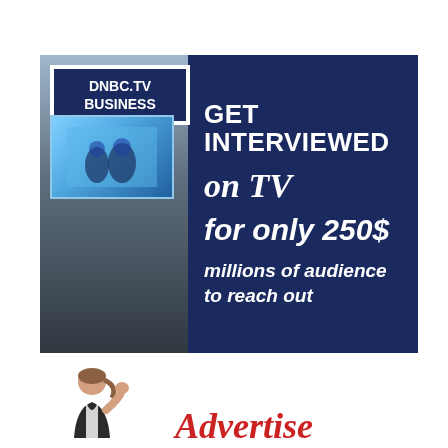[Figure (infographic): DNBC.TV Business advertisement banner: left side shows a camera/TV studio image with DNBC.TV BUSINESS logo box, right side (dark navy blue) shows text: GET INTERVIEWED on TV for only 250$ millions of audience to reach out]
[Figure (infographic): Bottom portion of advertisement showing a person figure (businesswoman) and the word 'Advertise' in red serif font]